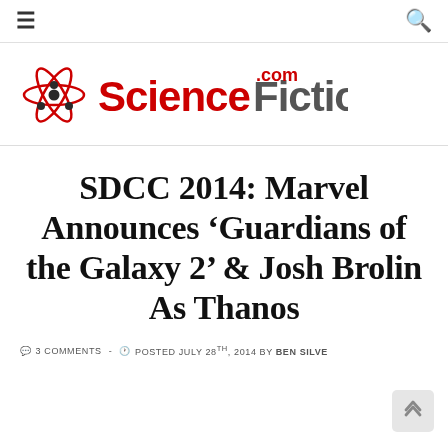≡  [search icon]
[Figure (logo): ScienceFiction.com logo with atom graphic and red/gray text]
SDCC 2014: Marvel Announces 'Guardians of the Galaxy 2' & Josh Brolin As Thanos
3 COMMENTS - POSTED JULY 28TH, 2014 BY BEN SILVE…